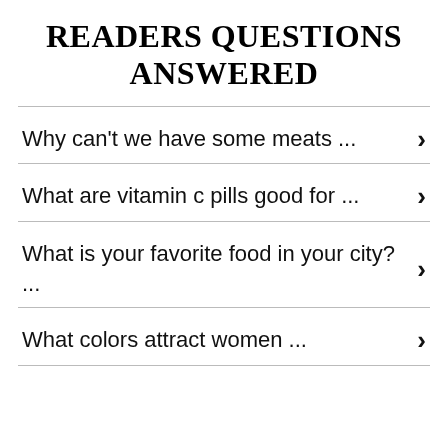READERS QUESTIONS ANSWERED
Why can't we have some meats ...
What are vitamin c pills good for ...
What is your favorite food in your city? ...
What colors attract women ...